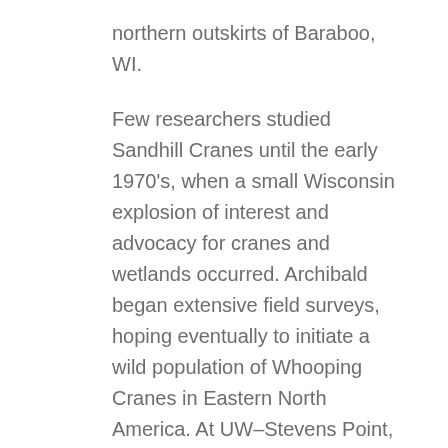northern outskirts of Baraboo, WI.
Few researchers studied Sandhill Cranes until the early 1970's, when a small Wisconsin explosion of interest and advocacy for cranes and wetlands occurred. Archibald began extensive field surveys, hoping eventually to initiate a wild population of Whooping Cranes in Eastern North America. At UW–Stevens Point, Ernie Gluesing, a wildlife biology graduate student under Dr. Lyle Nauman, surveyed the state's population and estimated a total of about 850 Sandhills. On the heels of Gluesing's research came the work of several more of Nauman's graduate students, all working to better understand the ecology of Sandhill Cranes.
Meanwhile, Jim and Libby Zimmerman's fight in